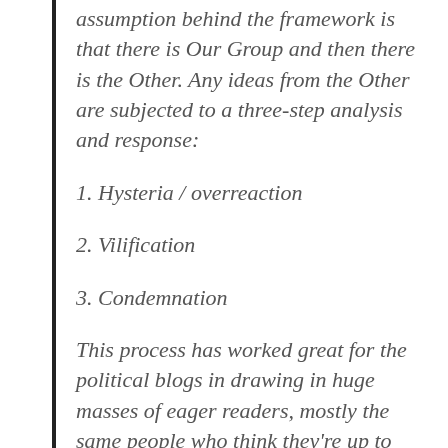assumption behind the framework is that there is Our Group and then there is the Other. Any ideas from the Other are subjected to a three-step analysis and response:
1. Hysteria / overreaction
2. Vilification
3. Condemnation
This process has worked great for the political blogs in drawing in huge masses of eager readers, mostly the same people who think they're up to